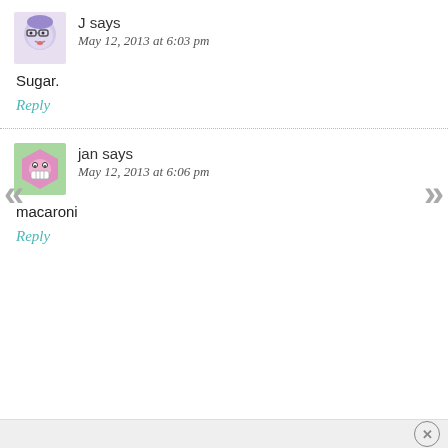[Figure (illustration): Avatar icon of a cartoon face with glasses and tongue out, purple/grey tones]
J says
May 12, 2013 at 6:03 pm
Sugar.
Reply
[Figure (illustration): Avatar icon of a cartoon pink hexagonal face with teeth showing, on green background]
jan says
May 12, 2013 at 6:06 pm
macaroni
Reply